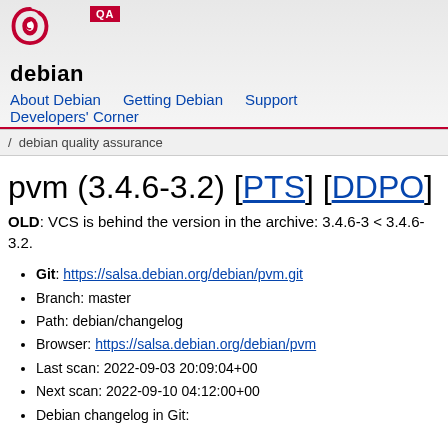debian QA — About Debian | Getting Debian | Support | Developers' Corner
/ debian quality assurance
pvm (3.4.6-3.2) [PTS] [DDPO]
OLD: VCS is behind the version in the archive: 3.4.6-3 < 3.4.6-3.2.
Git: https://salsa.debian.org/debian/pvm.git
Branch: master
Path: debian/changelog
Browser: https://salsa.debian.org/debian/pvm
Last scan: 2022-09-03 20:09:04+00
Next scan: 2022-09-10 04:12:00+00
Debian changelog in Git: